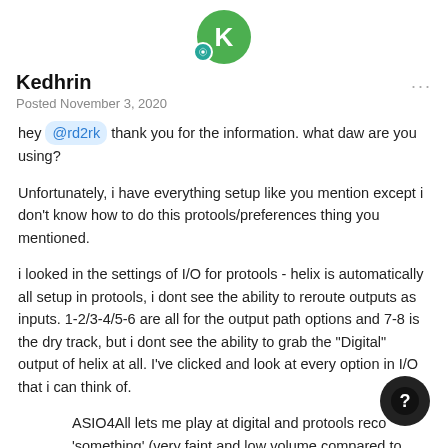[Figure (illustration): User avatar: green circle with white letter K, teal badge with gear/hexagon icon]
Kedhrin
Posted November 3, 2020
hey @rd2rk thank you for the information. what daw are you using?
Unfortunately, i have everything setup like you mention except i don't know how to do this protools/preferences thing you mentioned.
i looked in the settings of I/O for protools - helix is automatically all setup in protools, i dont see the ability to reroute outputs as inputs. 1-2/3-4/5-6 are all for the output path options and 7-8 is the dry track, but i dont see the ability to grab the "Digital" output of helix at all. I've clicked and look at every option in I/O that i can think of.
ASIO4All lets me play at digital and protools reco 'something' (very faint and low volume compared to the Helix ASIO) - but then the PC Audio won't route through